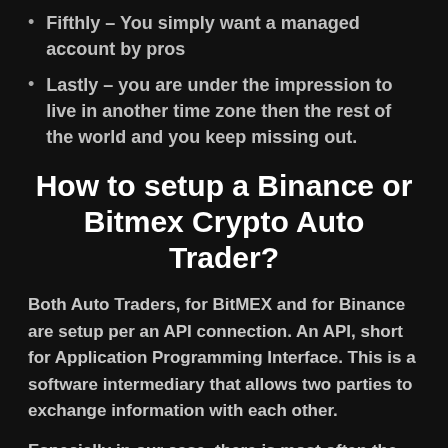Fifthly – You simply want a managed account by pros
Lastly – you are under the impression to live in another time zone then the rest of the world and you keep missing out.
How to setup a Binance or Bitmex Crypto Auto Trader?
Both Auto Traders, for BitMEX and for Binance are setup per an API connection. An API, short for Application Programming Interface. This is a software intermediary that allows two parties to exchange information with each other.
Especially in our case, there is most often the chat